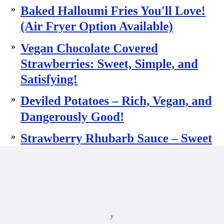» Baked Halloumi Fries You'll Love! (Air Fryer Option Available)
» Vegan Chocolate Covered Strawberries: Sweet, Simple, and Satisfying!
» Deviled Potatoes – Rich, Vegan, and Dangerously Good!
» Strawberry Rhubarb Sauce – Sweet and Simple!